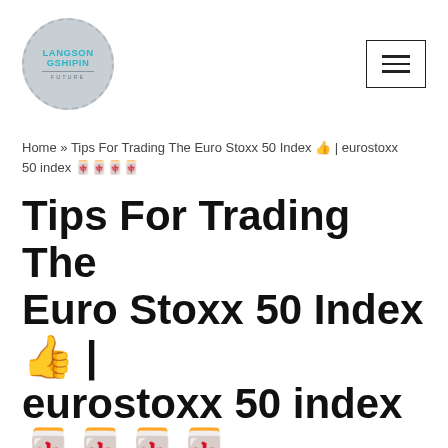[Figure (logo): Circular dashed-border logo with teal text LANGSON GSHIPIN and FUTURE below a horizontal line, on grey background]
Home » Tips For Trading The Euro Stoxx 50 Index 👍 | eurostoxx 50 index 🀄🀄🀄🀄
Tips For Trading The Euro Stoxx 50 Index 👍 | eurostoxx 50 index 🀄🀄🀄🀄
by Minh Tran / 29/04/2022